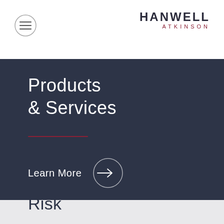HANWELL ATKINSON
Products & Services
Learn More
Risk